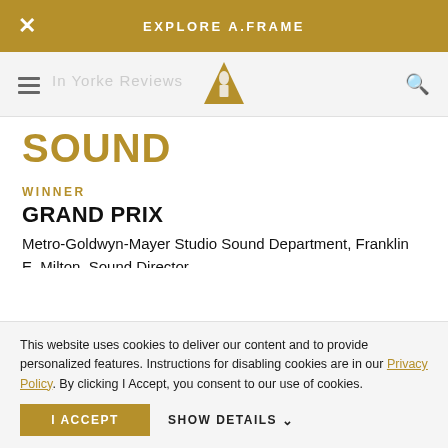EXPLORE A.FRAME
SOUND
WINNER
GRAND PRIX
Metro-Goldwyn-Mayer Studio Sound Department, Franklin E. Milton, Sound Director
NOMINEES
GAMBIT
Universal City Studio Sound Department, Waldon O. Watson, Sound Director
This website uses cookies to deliver our content and to provide personalized features. Instructions for disabling cookies are in our Privacy Policy. By clicking I Accept, you consent to our use of cookies.
I ACCEPT
SHOW DETAILS